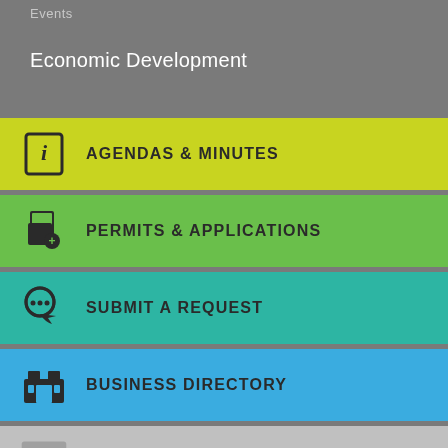Events
Economic Development
AGENDAS & MINUTES
PERMITS & APPLICATIONS
SUBMIT A REQUEST
BUSINESS DIRECTORY
AMALGAMATION INFORMATION